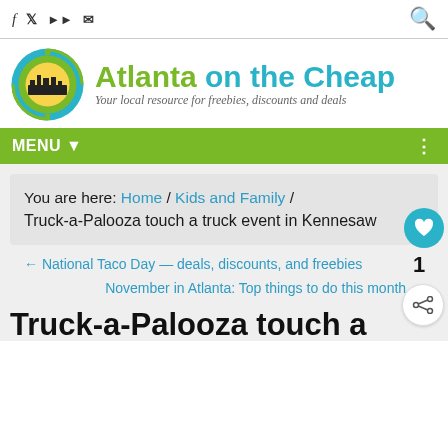Social icons: f, twitter, rss, mail; Search icon
[Figure (logo): Atlanta on the Cheap logo — circular coin icon with city skyline, green and teal colors, text: Atlanta on the Cheap, tagline: Your local resource for freebies, discounts and deals]
MENU ▼
You are here: Home / Kids and Family / Truck-a-Palooza touch a truck event in Kennesaw
← National Taco Day — deals, discounts, and freebies
November in Atlanta: Top things to do this month →
Truck-a-Palooza touch a